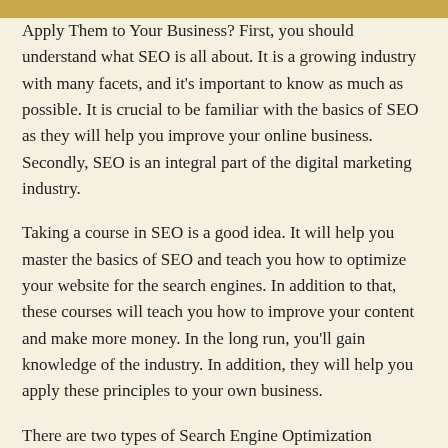Apply Them to Your Business? First, you should understand what SEO is all about. It is a growing industry with many facets, and it's important to know as much as possible. It is crucial to be familiar with the basics of SEO as they will help you improve your online business. Secondly, SEO is an integral part of the digital marketing industry.
Taking a course in SEO is a good idea. It will help you master the basics of SEO and teach you how to optimize your website for the search engines. In addition to that, these courses will teach you how to improve your content and make more money. In the long run, you'll gain knowledge of the industry. In addition, they will help you apply these principles to your own business.
There are two types of Search Engine Optimization Courses: the Basics and the Advanced. The basics are the basic knowledge required for SEO. You can choose any one that suits your needs and your budget. If you want to learn how to improve your website, you should take the courses in SEO.